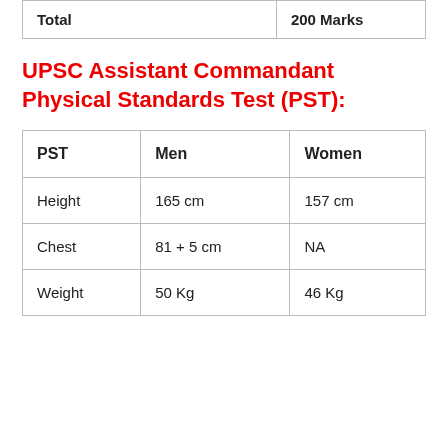|  |  |
| --- | --- |
| Total | 200 Marks |
UPSC Assistant Commandant Physical Standards Test (PST):
| PST | Men | Women |
| --- | --- | --- |
| Height | 165 cm | 157 cm |
| Chest | 81 + 5 cm | NA |
| Weight | 50 Kg | 46 Kg |